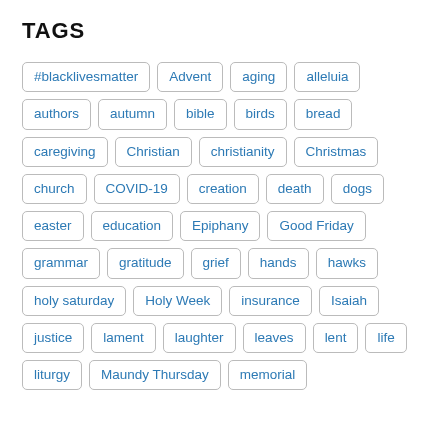TAGS
#blacklivesmatter
Advent
aging
alleluia
authors
autumn
bible
birds
bread
caregiving
Christian
christianity
Christmas
church
COVID-19
creation
death
dogs
easter
education
Epiphany
Good Friday
grammar
gratitude
grief
hands
hawks
holy saturday
Holy Week
insurance
Isaiah
justice
lament
laughter
leaves
lent
life
liturgy
Maundy Thursday
memorial